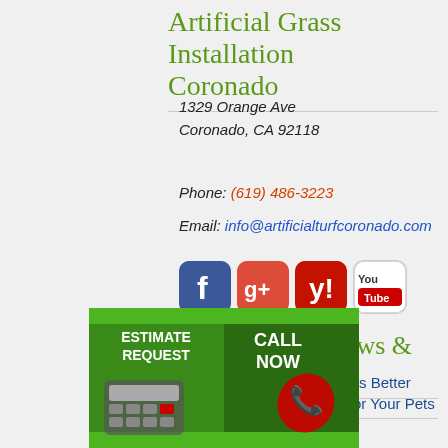Artificial Grass Installation Coronado
1329 Orange Ave
Coronado, CA 92118
Phone: (619) 486-3223
Email: info@artificialturfcoronado.com
[Figure (logo): Social media icons: Facebook, Google+, Yelp, YouTube]
Artificial Turf News & Info
▷How Artificial Grass Is Better Than Natural Grass For Your Pets Coronado?
▷Ho... And High A... lass Coron...
[Figure (infographic): Estimate Request button with calculator on grass background, and Call Now button with red phone on grass background]